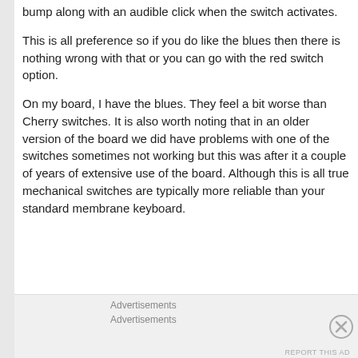bump along with an audible click when the switch activates.
This is all preference so if you do like the blues then there is nothing wrong with that or you can go with the red switch option.
On my board, I have the blues. They feel a bit worse than Cherry switches. It is also worth noting that in an older version of the board we did have problems with one of the switches sometimes not working but this was after it a couple of years of extensive use of the board. Although this is all true mechanical switches are typically more reliable than your standard membrane keyboard.
Advertisements
Advertisements